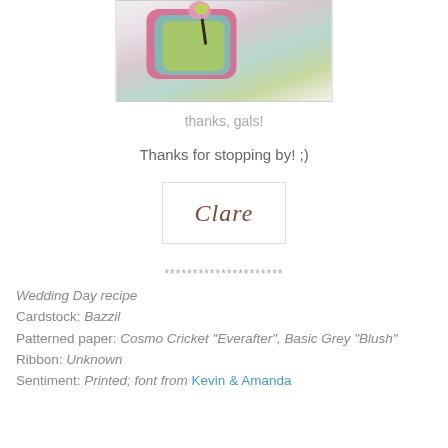[Figure (photo): Photograph of a handmade craft card with layered felt squares in pink, teal/blue, and green colors topped with a decorative flower, placed on a white surface.]
thanks, gals!
Thanks for stopping by! ;)
[Figure (other): Signature stamp or image reading 'Clare' in cursive script inside a light bordered box.]
*********************
Wedding Day recipe
Cardstock: Bazzil
Patterned paper: Cosmo Cricket "Everafter", Basic Grey "Blush"
Ribbon: Unknown
Sentiment: Printed; font from Kevin & Amanda